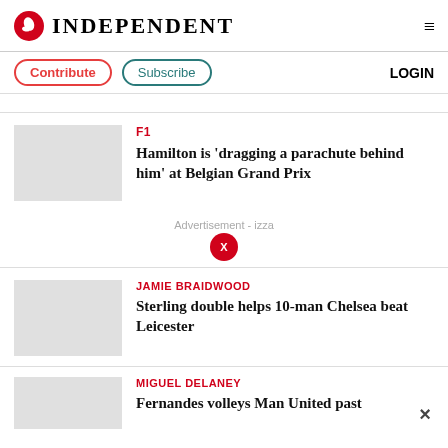[Figure (logo): The Independent logo with red bird icon and INDEPENDENT wordmark]
Contribute
Subscribe
LOGIN
F1
Hamilton is 'dragging a parachute behind him' at Belgian Grand Prix
Advertisement - izza
JAMIE BRAIDWOOD
Sterling double helps 10-man Chelsea beat Leicester
MIGUEL DELANEY
Fernandes volleys Man United past